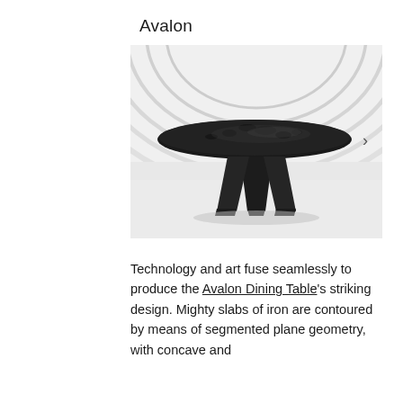Avalon
[Figure (photo): A round black iron dining table with a hammered/textured top surface and angular slab base legs, photographed in a futuristic white curved architectural setting.]
Technology and art fuse seamlessly to produce the Avalon Dining Table's striking design. Mighty slabs of iron are contoured by means of segmented plane geometry, with concave and